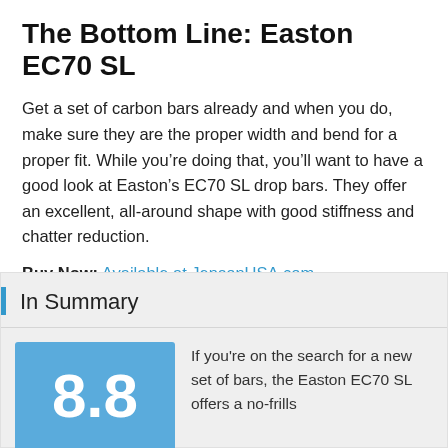The Bottom Line: Easton EC70 SL
Get a set of carbon bars already and when you do, make sure they are the proper width and bend for a proper fit. While you’re doing that, you’ll want to have a good look at Easton’s EC70 SL drop bars. They offer an excellent, all-around shape with good stiffness and chatter reduction.
Buy Now: Available at JensonUSA.com
In Summary
8.8
If you're on the search for a new set of bars, the Easton EC70 SL offers a no-frills